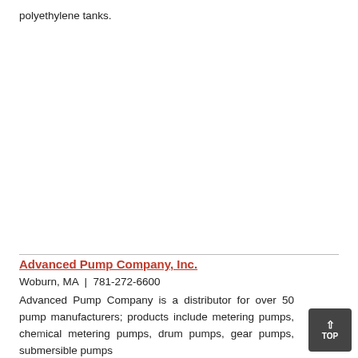polyethylene tanks.
Advanced Pump Company, Inc.
Woburn, MA  |  781-272-6600
Advanced Pump Company is a distributor for over 50 pump manufacturers; products include metering pumps, chemical metering pumps, drum pumps, gear pumps, submersible pumps